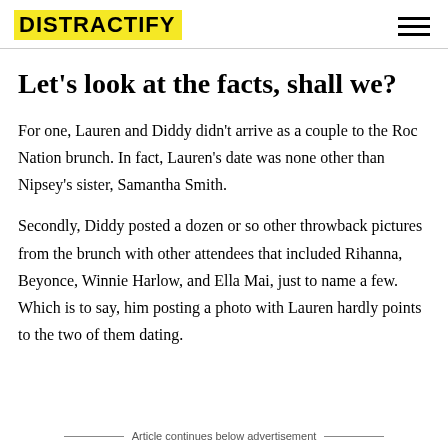DISTRACTIFY
Let's look at the facts, shall we?
For one, Lauren and Diddy didn't arrive as a couple to the Roc Nation brunch. In fact, Lauren's date was none other than Nipsey's sister, Samantha Smith.
Secondly, Diddy posted a dozen or so other throwback pictures from the brunch with other attendees that included Rihanna, Beyonce, Winnie Harlow, and Ella Mai, just to name a few. Which is to say, him posting a photo with Lauren hardly points to the two of them dating.
Article continues below advertisement